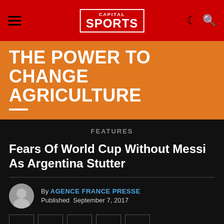CAPITAL SPORTS
[Figure (other): Advertisement banner with orange background: THE POWER TO CHANGE AGRICULTURE with white underline accent]
FEATURES
Fears Of World Cup Without Messi As Argentina Stutter
By AGENCE FRANCE PRESSE
Published September 7, 2017
This website uses cookies to improve your experience. We'll assume you're ok with this, but you can opt-out if you wish.
Cookie settings   ACCEPT